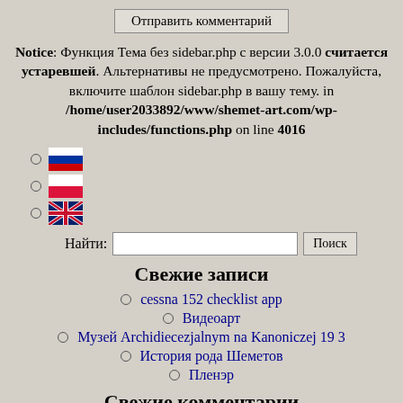Отправить комментарий
Notice: Функция Тема без sidebar.php с версии 3.0.0 считается устаревшей. Альтернативы не предусмотрено. Пожалуйста, включите шаблон sidebar.php в вашу тему. in /home/user2033892/www/shemet-art.com/wp-includes/functions.php on line 4016
[Russian flag]
[Polish flag]
[UK flag]
Найти: [input] Поиск
Свежие записи
cessna 152 checklist app
Видеоарт
Музей Archidiecezjalnym na Kanoniczej 19 3
История рода Шеметов
Пленэр
Свежие комментарии